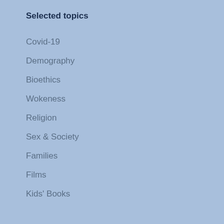Selected topics
Covid-19
Demography
Bioethics
Wokeness
Religion
Sex & Society
Families
Films
Kids' Books
About MercatorNet
What We Stand For
Mercator Who?
Our People